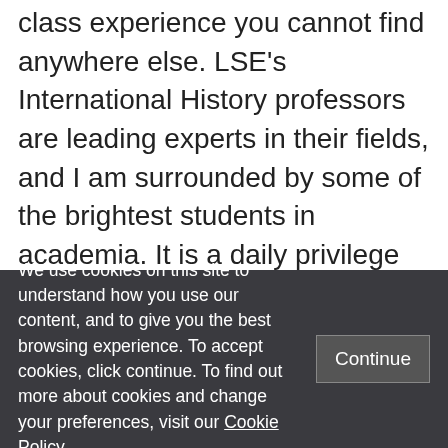class experience you cannot find anywhere else. LSE's International History professors are leading experts in their fields, and I am surrounded by some of the brightest students in academia. It is a daily privilege to be pursuing my research amongst these amazing colleagues and friends.
London is also an ideal place to be a PhD student. Since LSE is part of the University of London, they have access to the world-class...
We use cookies on this site to understand how you use our content, and to give you the best browsing experience. To accept cookies, click continue. To find out more about cookies and change your preferences, visit our Cookie Policy.